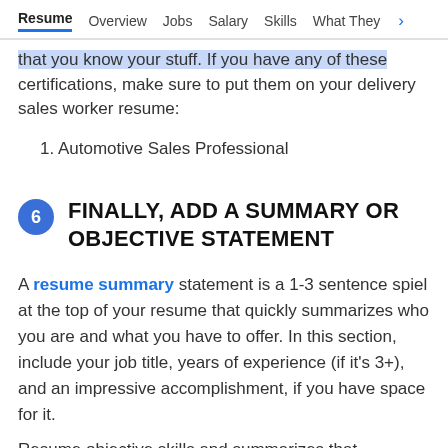Resume  Overview  Jobs  Salary  Skills  What They >
that you know your stuff. If you have any of these certifications, make sure to put them on your delivery sales worker resume:
1. Automotive Sales Professional
6  FINALLY, ADD A SUMMARY OR OBJECTIVE STATEMENT
A resume summary statement is a 1-3 sentence spiel at the top of your resume that quickly summarizes who you are and what you have to offer. In this section, include your job title, years of experience (if it's 3+), and an impressive accomplishment, if you have space for it.
Resume objective skills and summarizes that